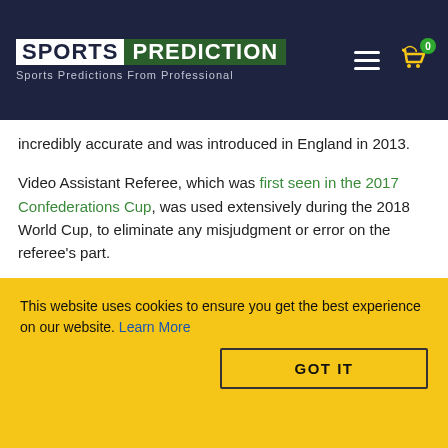SPORTS PREDICTION — Sports Predictions From Professional
incredibly accurate and was introduced in England in 2013.
Video Assistant Referee, which was first seen in the 2017 Confederations Cup, was used extensively during the 2018 World Cup, to eliminate any misjudgment or error on the referee's part.
ALSO ON SPORTSPREDICTION.ASIA
[Figure (other): Two card placeholders for related articles on SportsPrediction.Asia]
This website uses cookies to ensure you get the best experience on our website. Learn More
GOT IT